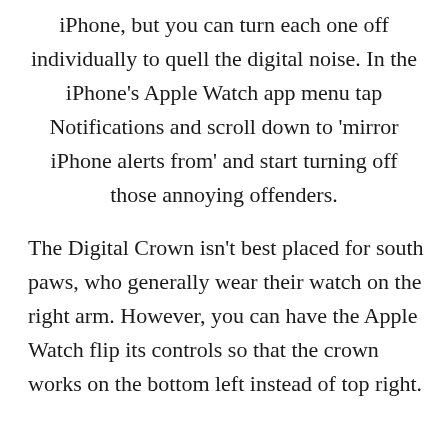iPhone, but you can turn each one off individually to quell the digital noise. In the iPhone's Apple Watch app menu tap Notifications and scroll down to 'mirror iPhone alerts from' and start turning off those annoying offenders.
The Digital Crown isn't best placed for south paws, who generally wear their watch on the right arm. However, you can have the Apple Watch flip its controls so that the crown works on the bottom left instead of top right.